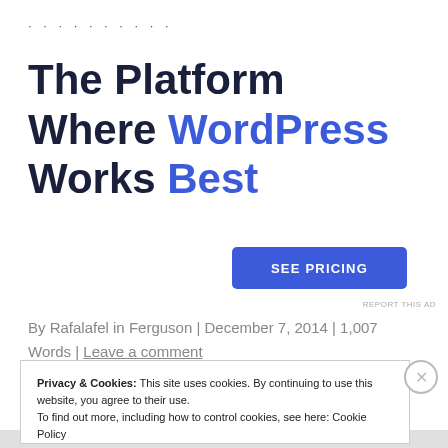·········
The Platform Where WordPress Works Best
[Figure (other): SEE PRICING blue button]
REPORT THIS AD
By Rafalafel in Ferguson | December 7, 2014 | 1,007 Words | Leave a comment
Privacy & Cookies: This site uses cookies. By continuing to use this website, you agree to their use. To find out more, including how to control cookies, see here: Cookie Policy
Close and accept